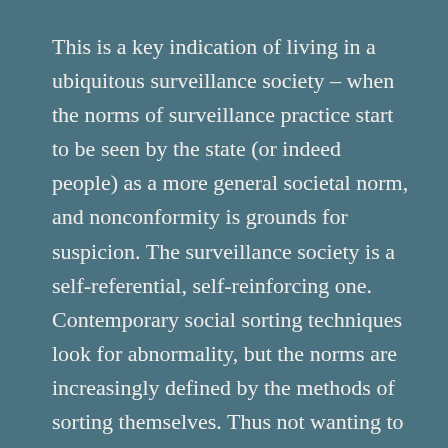This is a key indication of living in a ubiquitous surveillance society – when the norms of surveillance practice start to be seen by the state (or indeed people) as a more general societal norm, and nonconformity is grounds for suspicion. The surveillance society is a self-referential, self-reinforcing one. Contemporary social sorting techniques look for abnormality, but the norms are increasingly defined by the methods of sorting themselves. Thus not wanting to be under mass surveillance makes you suspicious and a subject of targeted surveillance; research into, or resistance or opposition to surveillance also makes you a suspect (as the